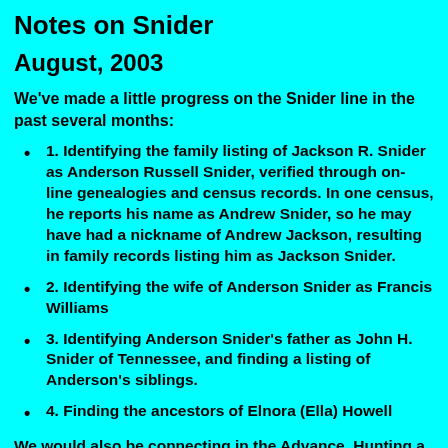Notes on Snider
August, 2003
We've made a little progress on the Snider line in the past several months:
1. Identifying the family listing of Jackson R. Snider as Anderson Russell Snider, verified through on- line genealogies and census records. In one census, he reports his name as Andrew Snider, so he may have had a nickname of Andrew Jackson, resulting in family records listing him as Jackson Snider.
2. Identifying the wife of Anderson Snider as Francis Williams
3. Identifying Anderson Snider's father as John H. Snider of Tennessee, and finding a listing of Anderson's siblings.
4. Finding the ancestors of Elnora (Ella) Howell
We would also go on to join in the Advance. Hunting a kind of